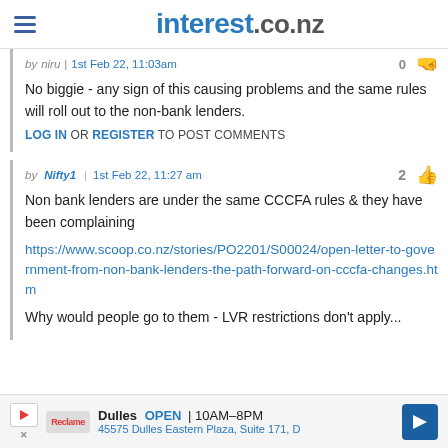interest.co.nz
by niru | 1st Feb 22, 11:03am
No biggie - any sign of this causing problems and the same rules will roll out to the non-bank lenders.
LOG IN OR REGISTER TO POST COMMENTS
by Nifty1 | 1st Feb 22, 11:27 am
Non bank lenders are under the same CCCFA rules & they have been complaining https://www.scoop.co.nz/stories/PO2201/S00024/open-letter-to-government-from-non-bank-lenders-the-path-forward-on-cccfa-changes.htm
Why would people go to them - LVR restrictions don't apply...
Dulles OPEN 10AM–8PM 45575 Dulles Eastern Plaza, Suite 171, D